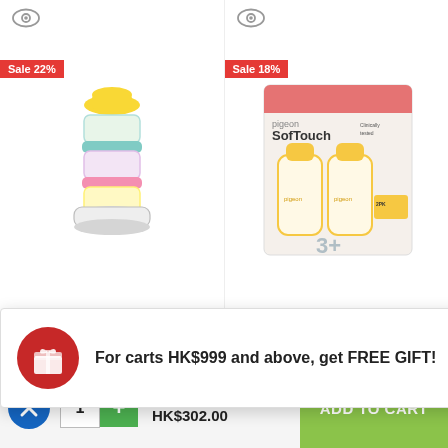[Figure (photo): Product listing page with two Pigeon baby products. Left: Pigeon milk powder container (stacked colorful tiers, yellow top, teal and pink bands) with Sale 22% badge. Right: Pigeon Sof Touch baby bottles set (2 bottles in box) with Sale 18% badge. Both have eye icons at top.]
PIGEON
PIGEON
For carts HK$999 and above, get FREE GIFT!
Pigeon Flexible Peristaltic PP 3D Bottle 160ml
HK$371.00
HK$302.00
ADD TO CART